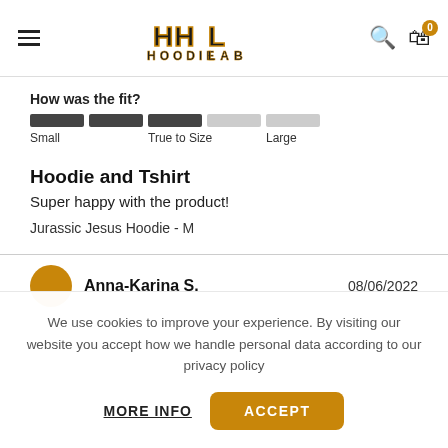[Figure (logo): Hoodie Lab logo with stylized HHL letters and drip effect in gold/black]
How was the fit?
[Figure (infographic): Fit rating bar showing 3 dark bars and 2 light bars, labeled Small, True to Size, Large]
Hoodie and Tshirt
Super happy with the product!
Jurassic Jesus Hoodie - M
Anna-Karina S.
08/06/2022
We use cookies to improve your experience. By visiting our website you accept how we handle personal data according to our privacy policy
MORE INFO
ACCEPT